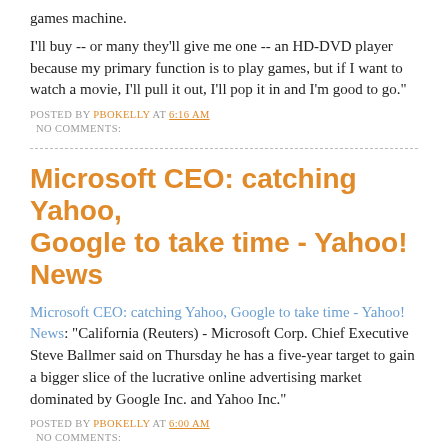games machine.
I'll buy -- or many they'll give me one -- an HD-DVD player because my primary function is to play games, but if I want to watch a movie, I'll pull it out, I'll pop it in and I'm good to go."
POSTED BY PBOKELLY AT 6:16 AM
NO COMMENTS:
Microsoft CEO: catching Yahoo, Google to take time - Yahoo! News
Microsoft CEO: catching Yahoo, Google to take time - Yahoo! News: "California (Reuters) - Microsoft Corp. Chief Executive Steve Ballmer said on Thursday he has a five-year target to gain a bigger slice of the lucrative online advertising market dominated by Google Inc. and Yahoo Inc."
POSTED BY PBOKELLY AT 6:00 AM
NO COMMENTS: